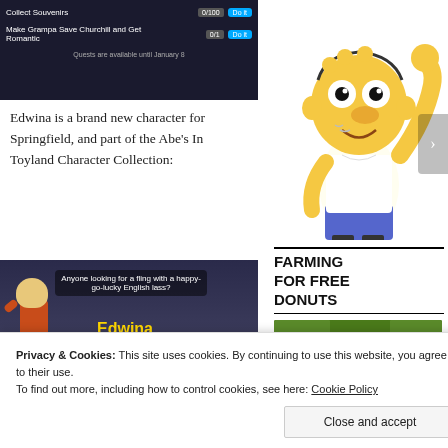[Figure (screenshot): Game screenshot showing quest list: 'Collect Souvenirs 0/100 Do it' and 'Make Grampa Save Churchill and Get Romantic 0/1 Do it'. Text at bottom: 'Quests are available until January 8'.]
[Figure (illustration): Homer Simpson cartoon character waving with one arm raised.]
Edwina is a brand new character for Springfield, and part of the Abe's In Toyland Character Collection:
[Figure (screenshot): Game screenshot showing Edwina character with speech bubble 'Anyone looking for a fling with a happy-go-lucky English lass?' Name label 'Edwina', XP 25, OK button. Bottom toolbar shows 'Abe's In Toyland'.]
FARMING FOR FREE DONUTS
[Figure (screenshot): Donut farming screenshot showing Homer farming donuts with 'Level Up! 939' UI overlay and 'Donut Farming' text at bottom.]
Privacy & Cookies: This site uses cookies. By continuing to use this website, you agree to their use. To find out more, including how to control cookies, see here: Cookie Policy
Close and accept